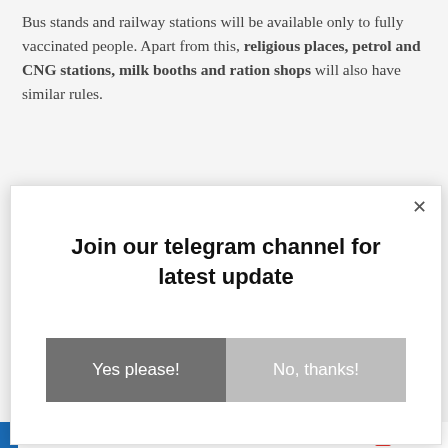Bus stands and railway stations will be available only to fully vaccinated people. Apart from this, religious places, petrol and CNG stations, milk booths and ration shops will also have similar rules.
----------------------------------------------------------------------
[Figure (other): Modal popup dialog with title 'Join our telegram channel for latest update' and two buttons: 'Yes please!' (dark gray) and 'No, thanks!' (light gray). Has a close (×) button in the top right.]
[Figure (other): Bottom bar with colored segments (blue, green, yellow, gray) and AddThis badge in bottom right.]